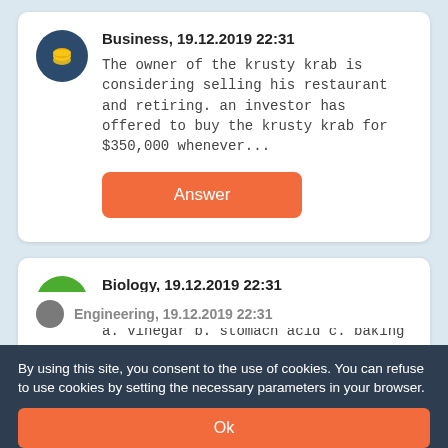Business, 19.12.2019 22:31
The owner of the krusty krab is considering selling his restaurant and retiring. an investor has offered to buy the krusty krab for $350,000 whenever...
Biology, 19.12.2019 22:31
7. which of the following is a base? a. vinegar b. stomach acid c. baking soda d. lemon juice...
By using this site, you consent to the use of cookies. You can refuse to use cookies by setting the necessary parameters in your browser.